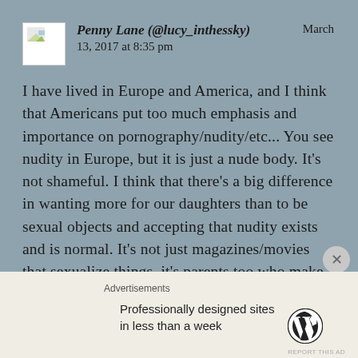Penny Lane (@lucy_inthessky)  March 13, 2017 at 8:35 pm
I have lived in Europe and America, and I think that Americans put too much emphasis and importance on pornography/nudity/etc... You see nudity in Europe, but it is just a nude body. It’s not shameful. I think that there’s a big difference in wanting more for our daughters than to be sexual objects and accepting that nudity exists and is normal. It’s not just magazines/movies that sexualize things, it’s parents too who make everything very shameful.
Advertisements
Professionally designed sites in less than a week